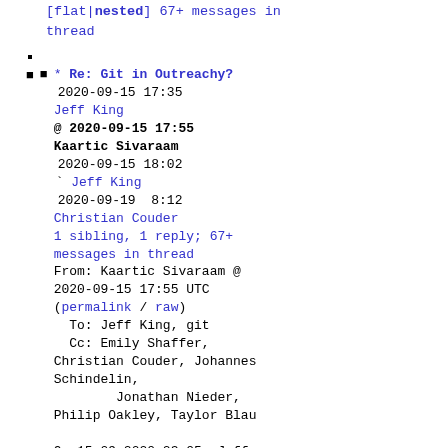[flat|nested] 67+ messages in thread
(bullet)
* Re: Git in Outreachy?
2020-09-15 17:35
Jeff King
@ 2020-09-15 17:55
Kaartic Sivaraam
2020-09-15 18:02
Jeff King
2020-09-19  8:12
Christian Couder
1 sibling, 1 reply; 67+ messages in thread
From: Kaartic Sivaraam @ 2020-09-15 17:55 UTC
(permalink / raw)
To: Jeff King, git
Cc: Emily Shaffer, Christian Couder, Johannes Schindelin,
        Jonathan Nieder, Philip Oakley, Taylor Blau

On 15-09-2020 23:05, Jeff King wrote:
> On Thu, Sep 03, 2020 at 01:41:26AM -0400, Jeff King wrote: